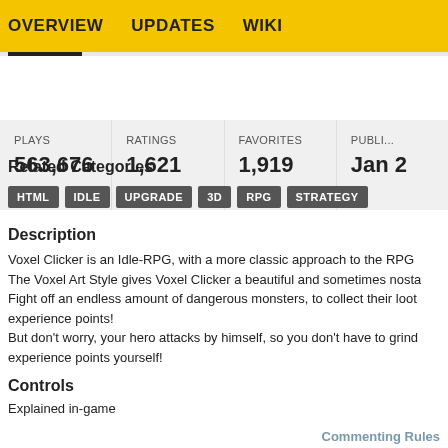OVERVIEW   UPDATES   WIKI
| PLAYS | RATINGS | FAVORITES | PUBLI... |
| --- | --- | --- | --- |
| 563,676 | 1,621 | 1,919 | Jan 2... |
Related Categories
HTML
IDLE
UPGRADE
3D
RPG
STRATEGY
Description
Voxel Clicker is an Idle-RPG, with a more classic approach to the RPG The Voxel Art Style gives Voxel Clicker a beautiful and sometimes nosta Fight off an endless amount of dangerous monsters, to collect their loot experience points! But don't worry, your hero attacks by himself, so you don't have to grind experience points yourself!
Controls
Explained in-game
Commenting Rules